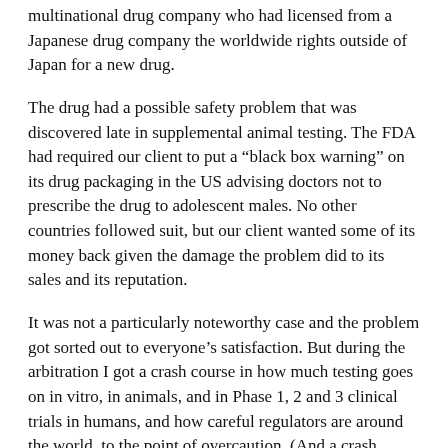multinational drug company who had licensed from a Japanese drug company the worldwide rights outside of Japan for a new drug.
The drug had a possible safety problem that was discovered late in supplemental animal testing. The FDA had required our client to put a “black box warning” on its drug packaging in the US advising doctors not to prescribe the drug to adolescent males. No other countries followed suit, but our client wanted some of its money back given the damage the problem did to its sales and its reputation.
It was not a particularly noteworthy case and the problem got sorted out to everyone’s satisfaction. But during the arbitration I got a crash course in how much testing goes on in vitro, in animals, and in Phase 1, 2 and 3 clinical trials in humans, and how careful regulators are around the world, to the point of overcaution. (And a crash course in the fascinating subject of spermiogenesis in juvenile rats.)
That’s why I feel very confident in the safety of the vaccines. Even though clinical trials were quite compressed into last year, nothing was skipped and the safety profile of the vaccines is excellent. That